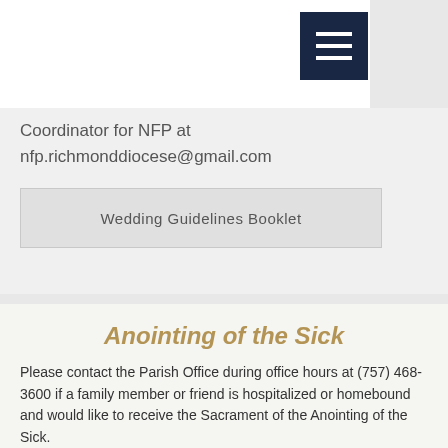Holy Spirit Catholic Church
Coordinator for NFP at nfp.richmonddiocese@gmail.com
Wedding Guidelines Booklet
Anointing of the Sick
Please contact the Parish Office during office hours at (757) 468-3600 if a family member or friend is hospitalized or homebound and would like to receive the Sacrament of the Anointing of the Sick.